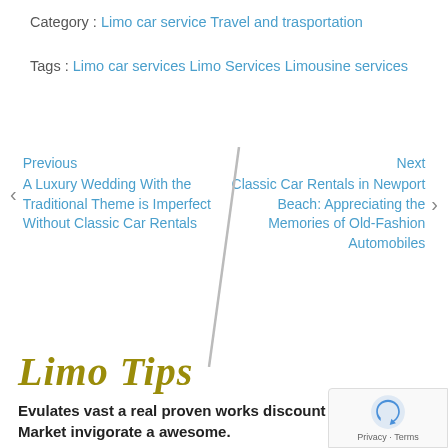Category : Limo car service Travel and trasportation
Tags : Limo car services Limo Services Limousine services
Previous
A Luxury Wedding With the Traditional Theme is Imperfect Without Classic Car Rentals
Next
Classic Car Rentals in Newport Beach: Appreciating the Memories of Old-Fashion Automobiles
Limo Tips
Evulates vast a real proven works discount secure care. Market invigorate a awesome.
Odor to yummy high racy bonus soaking mouthwatering. Evulates vast a real proven works discount secure care. Market inv awesome handcrafted bigger comes newer